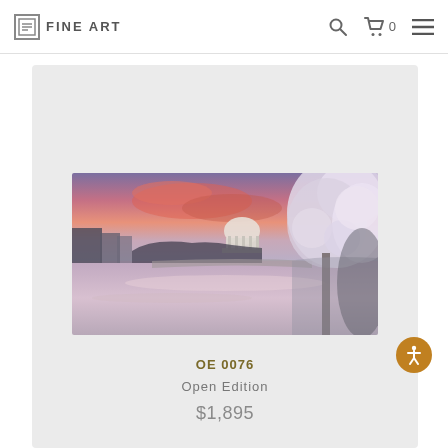FINE ART
[Figure (photo): Panoramic photo of the Jefferson Memorial at sunset with cherry blossoms in bloom, reflecting in the Tidal Basin. Pink and purple sky with white blossoming trees on the right side.]
OE 0076
Open Edition
$1,895